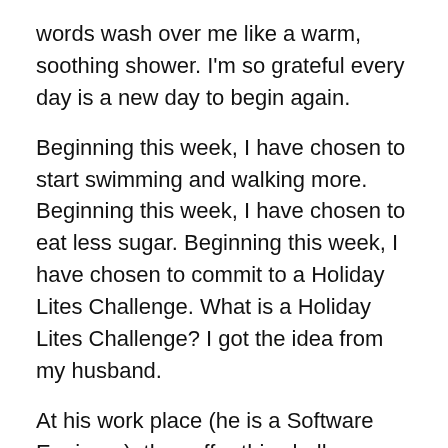words wash over me like a warm, soothing shower. I'm so grateful every day is a new day to begin again.
Beginning this week, I have chosen to start swimming and walking more. Beginning this week, I have chosen to eat less sugar. Beginning this week, I have chosen to commit to a Holiday Lites Challenge. What is a Holiday Lites Challenge? I got the idea from my husband.
At his work place (he is a Software Engineer), they offer this challenge between Thanksgiving and New Year's. The goal of the challenge is to maintain your current weight through these three festive, food and drink filled holidays.
YIKES. 😳
Him and most of his colleagues maintain. Some even lose weight. All who volunteer to participate, weigh themselves